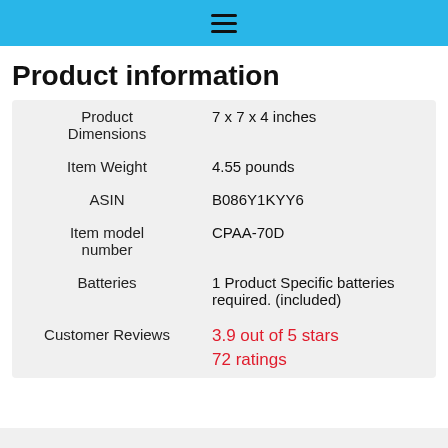≡
Product information
|  |  |
| --- | --- |
| Product
Dimensions | 7 x 7 x 4 inches |
| Item Weight | 4.55 pounds |
| ASIN | B086Y1KYY6 |
| Item model
number | CPAA-70D |
| Batteries | 1 Product Specific batteries required. (included) |
| Customer Reviews | 3.9 out of 5 stars
72 ratings |